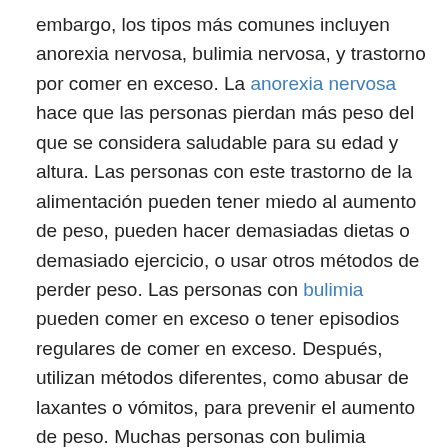embargo, los tipos más comunes incluyen anorexia nervosa, bulimia nervosa, y trastorno por comer en exceso. La anorexia nervosa hace que las personas pierdan más peso del que se considera saludable para su edad y altura. Las personas con este trastorno de la alimentación pueden tener miedo al aumento de peso, pueden hacer demasiadas dietas o demasiado ejercicio, o usar otros métodos de perder peso. Las personas con bulimia pueden comer en exceso o tener episodios regulares de comer en exceso. Después, utilizan métodos diferentes, como abusar de laxantes o vómitos, para prevenir el aumento de peso. Muchas personas con bulimia también tienen anorexia nervosa. Según MentalHealth.gov, comer en exceso es "cuando una persona come una cantidad mucho mayor de alimentos en un período de tiempo más corto" de lo que